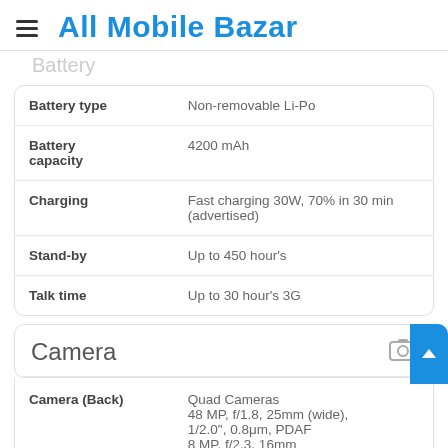All Mobile Bazar
Battery
| Spec | Value |
| --- | --- |
| Battery type | Non-removable Li-Po |
| Battery capacity | 4200 mAh |
| Charging | Fast charging 30W, 70% in 30 min (advertised) |
| Stand-by | Up to 450 hour's |
| Talk time | Up to 30 hour's 3G |
Camera
| Spec | Value |
| --- | --- |
| Camera (Back) | Quad Cameras
48 MP, f/1.8, 25mm (wide), 1/2.0", 0.8μm, PDAF
8 MP, f/2.3, 16mm |